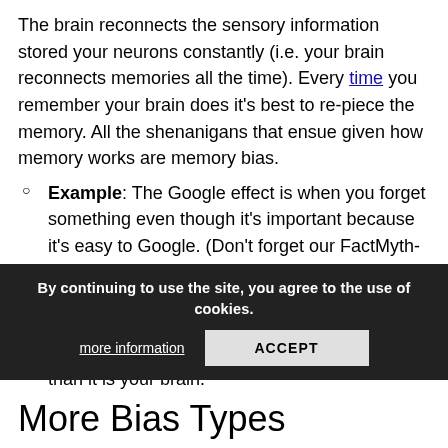The brain reconnects the sensory information stored your neurons constantly (i.e. your brain reconnects memories all the time). Every time you remember your brain does it's best to re-piece the memory. All the shenanigans that ensue given how memory works are memory bias.
Example: The Google effect is when you forget something even though it's important because it's easy to Google. (Don't forget our FactMyth-ism, but do google them often). This is a memory and not decision bias as your brain is choosing not to remember it, as it's more efficient to store the information on the internet than it is your brain.
More Bias Types
Since bias is so fundamental to life there are many